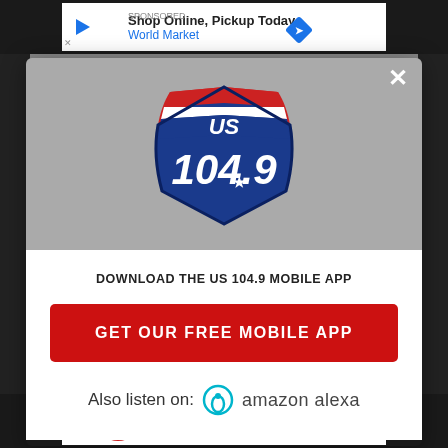[Figure (screenshot): Mobile app webpage screenshot showing a popup modal for US 104.9 radio station with background website visible]
Shop Online, Pickup Today
World Market
[Figure (logo): US 104.9 radio station shield logo in red, white and blue]
DOWNLOAD THE US 104.9 MOBILE APP
GET OUR FREE MOBILE APP
Also listen on: amazon alexa
Lidl: More Food for Less Money